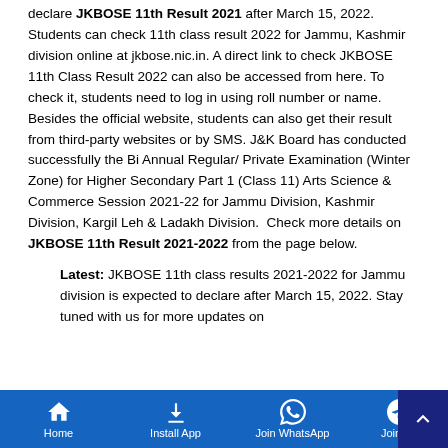declare JKBOSE 11th Result 2021 after March 15, 2022. Students can check 11th class result 2022 for Jammu, Kashmir division online at jkbose.nic.in. A direct link to check JKBOSE 11th Class Result 2022 can also be accessed from here. To check it, students need to log in using roll number or name. Besides the official website, students can also get their result from third-party websites or by SMS. J&K Board has conducted successfully the Bi Annual Regular/ Private Examination (Winter Zone) for Higher Secondary Part 1 (Class 11) Arts Science & Commerce Session 2021-22 for Jammu Division, Kashmir Division, Kargil Leh & Ladakh Division. Check more details on JKBOSE 11th Result 2021-2022 from the page below.
Latest: JKBOSE 11th class results 2021-2022 for Jammu division is expected to declare after March 15, 2022. Stay tuned with us for more updates on
Home | Install App | Join WhatsApp | Join Tel...